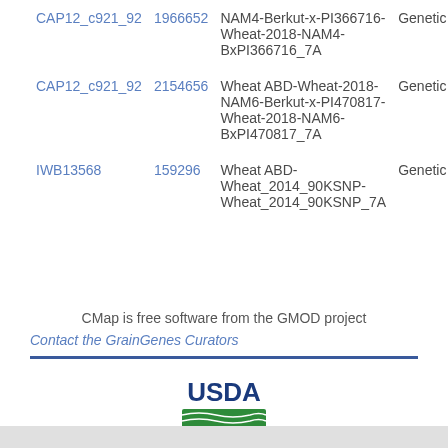| Marker | ID | Map | Type |
| --- | --- | --- | --- |
| CAP12_c921_92 | 1966652 | NAM4-Berkut-x-PI366716-Wheat-2018-NAM4-BxPI366716_7A | Genetic |
| CAP12_c921_92 | 2154656 | Wheat ABD-Wheat-2018-NAM6-Berkut-x-PI470817-Wheat-2018-NAM6-BxPI470817_7A | Genetic |
| IWB13568 | 159296 | Wheat ABD-Wheat_2014_90KSNP-Wheat_2014_90KSNP_7A | Genetic |
CMap is free software from the GMOD project
Contact the GrainGenes Curators
[Figure (logo): USDA logo with green field graphic]
GrainGenes is a product of the US Department of Agriculture.